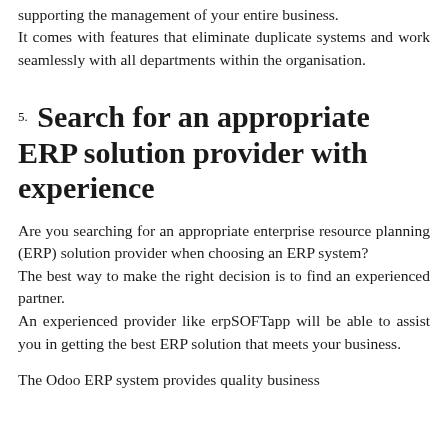supporting the management of your entire business. It comes with features that eliminate duplicate systems and work seamlessly with all departments within the organisation.
5. Search for an appropriate ERP solution provider with experience
Are you searching for an appropriate enterprise resource planning (ERP) solution provider when choosing an ERP system?
The best way to make the right decision is to find an experienced partner.
An experienced provider like erpSOFTapp will be able to assist you in getting the best ERP solution that meets your business.
The Odoo ERP system provides quality business